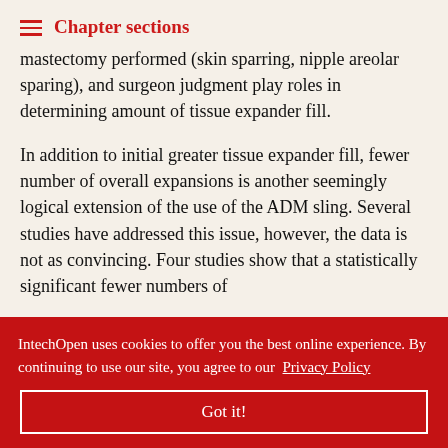Chapter sections
mastectomy performed (skin sparring, nipple areolar sparing), and surgeon judgment play roles in determining amount of tissue expander fill.
In addition to initial greater tissue expander fill, fewer number of overall expansions is another seemingly logical extension of the use of the ADM sling. Several studies have addressed this issue, however, the data is not as convincing. Four studies show that a statistically significant fewer numbers of n of ADM. [3 number of pared to the abedian n the ADM group at 5 as compared to the non-ADM group at 5.5.
IntechOpen uses cookies to offer you the best online experience. By continuing to use our site, you agree to our Privacy Policy
Got it!